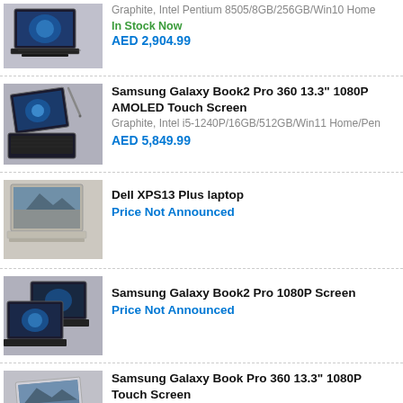Graphite, Intel Pentium 8505/8GB/256GB/Win10 Home | In Stock Now | AED 2,904.99
Samsung Galaxy Book2 Pro 360 13.3" 1080P AMOLED Touch Screen | Graphite, Intel i5-1240P/16GB/512GB/Win11 Home/Pen | AED 5,849.99
Dell XPS13 Plus laptop | Price Not Announced
Samsung Galaxy Book2 Pro 1080P Screen | Price Not Announced
Samsung Galaxy Book Pro 360 13.3" 1080P Touch Screen | Silver, Intel i5-1135G7/16GB/512GB/Win 10 Home